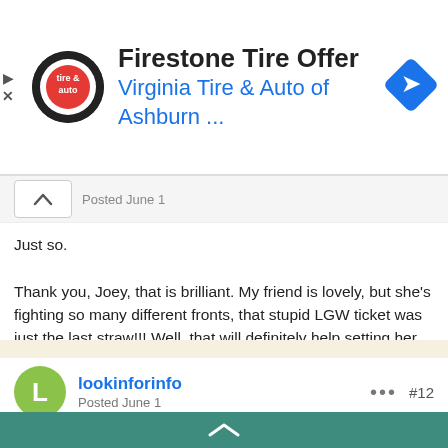[Figure (screenshot): Ad banner for Firestone Tire Offer by Virginia Tire & Auto of Ashburn with logo and navigation arrow icon]
Just so.
Thank you, Joey, that is brilliant. My friend is lovely, but she's fighting so many different fronts, that stupid LGW ticket was just the last straw!!! Well, that will definitely help setting her mind at rest. 🤗
lookinforinfo
Posted June 1
There is another factor. The sign at the start of the drop off zone states that there is a £5 charge. But it is not until you read the T&Cs inside that there is an £80 charge for nonpayment too late as the £5 is the charge